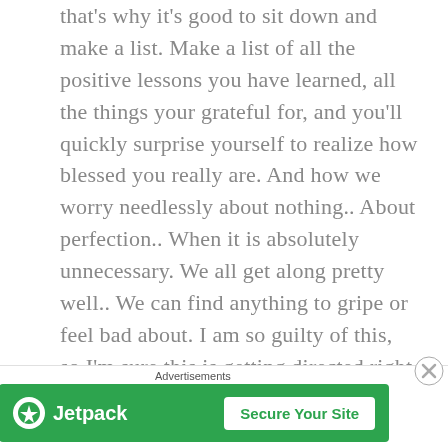that's why it's good to sit down and make a list. Make a list of all the positive lessons you have learned, all the things your grateful for, and you'll quickly surprise yourself to realize how blessed you really are. And how we worry needlessly about nothing.. About perfection.. When it is absolutely unnecessary. We all get along pretty well.. We can find anything to gripe or feel bad about. I am so guilty of this, so I'm sure this is getting directed right at me! I worry about the next thing to worry about. I can't settle down and relax until everything feels done and perfect… I did this today and cleaned endlessly for hours (to make sure I did everything perfectly!) while the rest of my family enjoyed their
[Figure (other): Jetpack advertisement banner with green background, Jetpack logo and 'Secure Your Site' button]